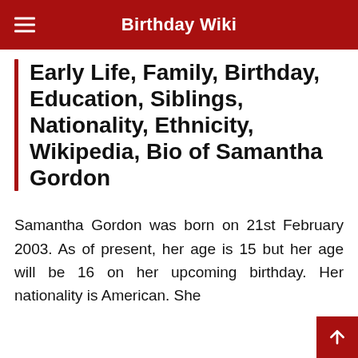Birthday Wiki
Early Life, Family, Birthday, Education, Siblings, Nationality, Ethnicity, Wikipedia, Bio of Samantha Gordon
Samantha Gordon was born on 21st February 2003. As of present, her age is 15 but her age will be 16 on her upcoming birthday. Her nationality is American. She...